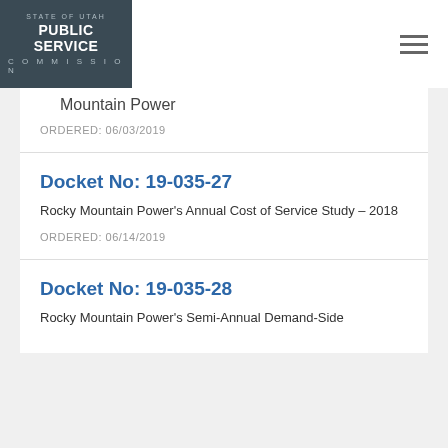STATE OF UTAH PUBLIC SERVICE COMMISSION
Mountain Power
ORDERED: 06/03/2019
Docket No: 19-035-27
Rocky Mountain Power's Annual Cost of Service Study – 2018
ORDERED: 06/14/2019
Docket No: 19-035-28
Rocky Mountain Power's Semi-Annual Demand-Side